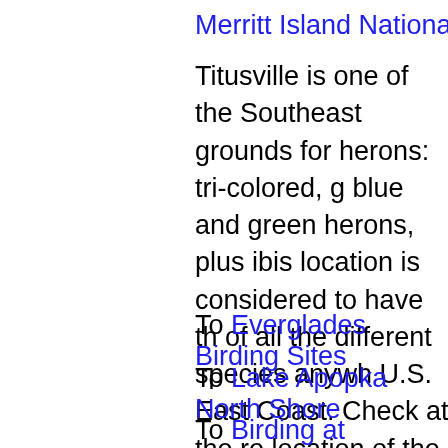Merritt Island National Wildlife R
Titusville is one of the Southeast grounds for herons: tri-colored, g blue and green herons, plus ibis location is considered to have th of all the different species anywh U.S. East Coast. Check at the re location of the most accessible n a great place for wintering water November and peaking in Janua
To Everglades Birding Sites
To Lake Apopka North Shore
To Birding at Corkscrew Swamp